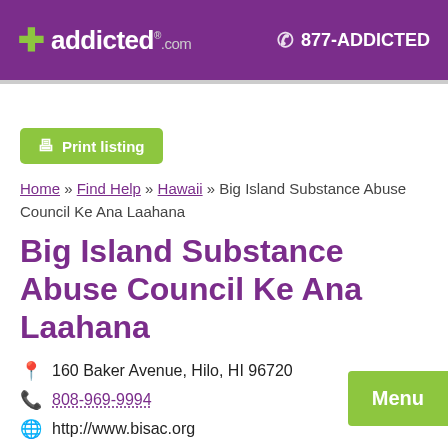addicted.com  877-ADDICTED
[Figure (logo): addicted.com logo with green cross and white text on purple background, with phone number 877-ADDICTED]
Print listing
Home » Find Help » Hawaii » Big Island Substance Abuse Council Ke Ana Laahana
Big Island Substance Abuse Council Ke Ana Laahana
160 Baker Avenue, Hilo, HI 96720
808-969-9994
http://www.bisac.org